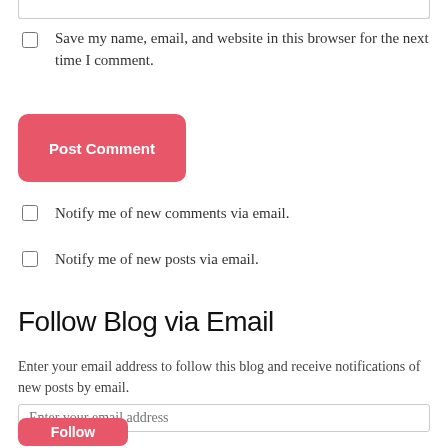Save my name, email, and website in this browser for the next time I comment.
Post Comment
Notify me of new comments via email.
Notify me of new posts via email.
Follow Blog via Email
Enter your email address to follow this blog and receive notifications of new posts by email.
Enter your email address
Follow